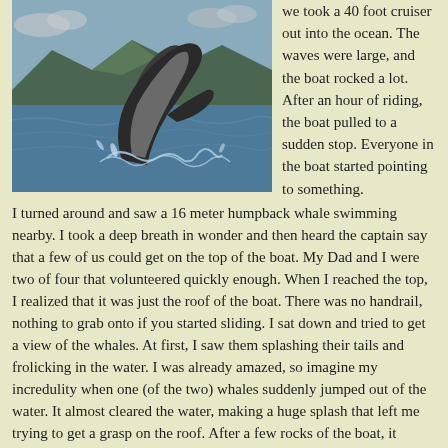[Figure (photo): A humpback whale breaching out of the ocean water, with mountains and cloudy sky in the background.]
we took a 40 foot cruiser out into the ocean. The waves were large, and the boat rocked a lot. After an hour of riding, the boat pulled to a sudden stop. Everyone in the boat started pointing to something. I turned around and saw a 16 meter humpback whale swimming nearby. I took a deep breath in wonder and then heard the captain say that a few of us could get on the top of the boat. My Dad and I were two of four that volunteered quickly enough. When I reached the top, I realized that it was just the roof of the boat. There was no handrail, nothing to grab onto if you started sliding. I sat down and tried to get a view of the whales. At first, I saw them splashing their tails and frolicking in the water. I was already amazed, so imagine my incredulity when one (of the two) whales suddenly jumped out of the water. It almost cleared the water, making a huge splash that left me trying to get a grasp on the roof. After a few rocks of the boat, it leveled out again. Then the other humpback whale did the same thing. I thought, “This is way better than a movie or Pacific Life commercial.” Both whales continued jumping (sometimes synchronized) and giving us a few turns